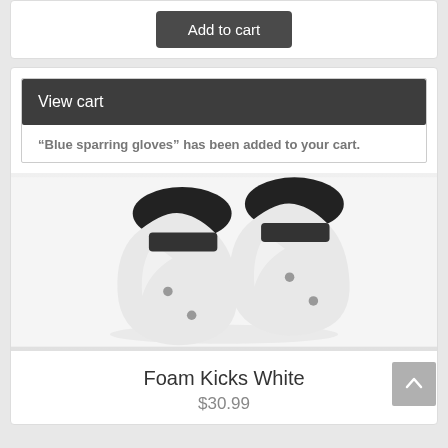Add to cart
View cart
“Blue sparring gloves” has been added to your cart.
[Figure (photo): Photo of white foam martial arts foot/kick protectors (Foam Kicks White) on a white background, shown as a pair with black straps.]
Foam Kicks White
$30.99